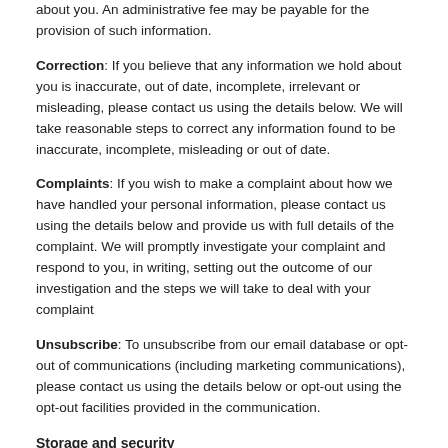about you. An administrative fee may be payable for the provision of such information.
Correction: If you believe that any information we hold about you is inaccurate, out of date, incomplete, irrelevant or misleading, please contact us using the details below. We will take reasonable steps to correct any information found to be inaccurate, incomplete, misleading or out of date.
Complaints: If you wish to make a complaint about how we have handled your personal information, please contact us using the details below and provide us with full details of the complaint. We will promptly investigate your complaint and respond to you, in writing, setting out the outcome of our investigation and the steps we will take to deal with your complaint
Unsubscribe: To unsubscribe from our email database or opt-out of communications (including marketing communications), please contact us using the details below or opt-out using the opt-out facilities provided in the communication.
Storage and security
We are committed to ensuring that the personal information we collect is secure. In order to prevent unauthorised access or disclosure, we have put in place suitable physical, electronic and managerial procedures to